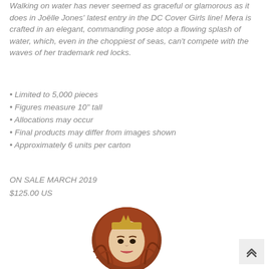Walking on water has never seemed as graceful or glamorous as it does in Joëlle Jones' latest entry in the DC Cover Girls line! Mera is crafted in an elegant, commanding pose atop a flowing splash of water, which, even in the choppiest of seas, can't compete with the waves of her trademark red locks.
• Limited to 5,000 pieces
• Figures measure 10" tall
• Allocations may occur
• Final products may differ from images shown
• Approximately 6 units per carton
ON SALE MARCH 2019
$125.00 US
[Figure (illustration): Bottom portion of a DC Cover Girls Mera figurine showing her face and red hair with golden crown/headpiece, the figure is partially visible at the bottom of the page]